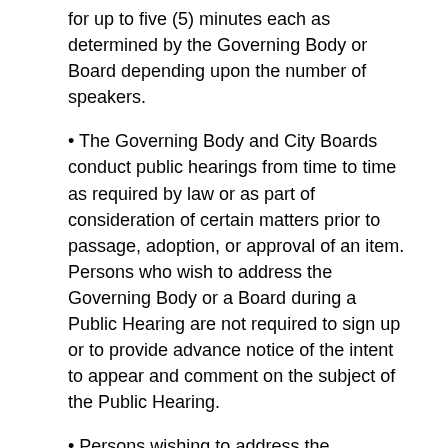for up to five (5) minutes each as determined by the Governing Body or Board depending upon the number of speakers.
• The Governing Body and City Boards conduct public hearings from time to time as required by law or as part of consideration of certain matters prior to passage, adoption, or approval of an item. Persons who wish to address the Governing Body or a Board during a Public Hearing are not required to sign up or to provide advance notice of the intent to appear and comment on the subject of the Public Hearing.
• Persons wishing to address the Governing Body in a public hearing may make comments for five (5) minutes; provided that, a spokesperson for an applicant or group of applicants or petitioners may speak for up to ten (10) minutes, and a spokesperson for an aligned group in opposition to the application or petition under consideration, if so designated, shall also be permitted to speak for up to ten (10) minutes. Speakers may not otherwise give, donate, or yield their time to speak to extend another person's time.